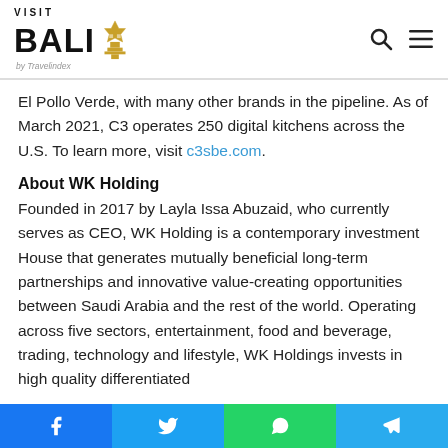VISIT BALI by Travelindex
El Pollo Verde, with many other brands in the pipeline. As of March 2021, C3 operates 250 digital kitchens across the U.S. To learn more, visit c3sbe.com.
About WK Holding
Founded in 2017 by Layla Issa Abuzaid, who currently serves as CEO, WK Holding is a contemporary investment House that generates mutually beneficial long-term partnerships and innovative value-creating opportunities between Saudi Arabia and the rest of the world. Operating across five sectors, entertainment, food and beverage, trading, technology and lifestyle, WK Holdings invests in high quality differentiated
Facebook Twitter WhatsApp Telegram